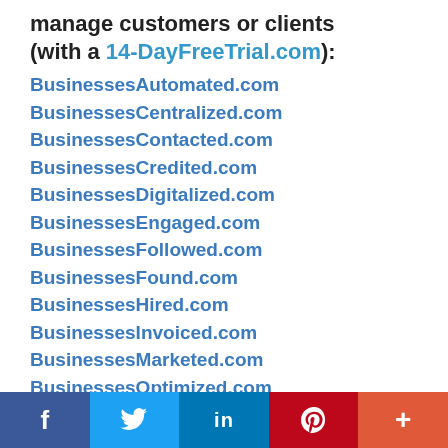manage customers or clients (with a 14-DayFreeTrial.com):
BusinessesAutomated.com
BusinessesCentralized.com
BusinessesContacted.com
BusinessesCredited.com
BusinessesDigitalized.com
BusinessesEngaged.com
BusinessesFollowed.com
BusinessesFound.com
BusinessesHired.com
BusinessesInvoiced.com
BusinessesMarketed.com
BusinessesOptimized.com
BusinessesOrganized.com
BusinessesPaid.com
BusinessesPosted.com
BusinessesPromoted.com
f  [Twitter bird]  in  P  +